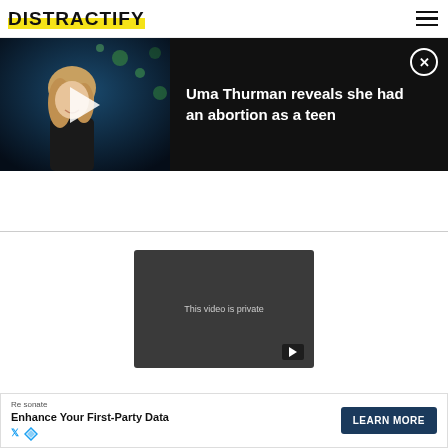DISTRACTIFY
[Figure (screenshot): Video banner showing Uma Thurman story with thumbnail of woman in black turtleneck with play button, title: Uma Thurman reveals she had an abortion as a teen, close button top right]
[Figure (screenshot): Dark video player box showing 'This video is private' with small play button in lower right corner]
[Figure (other): Advertisement banner: Resonate brand, 'Enhance Your First-Party Data' headline, LEARN MORE button, X and other social icons]